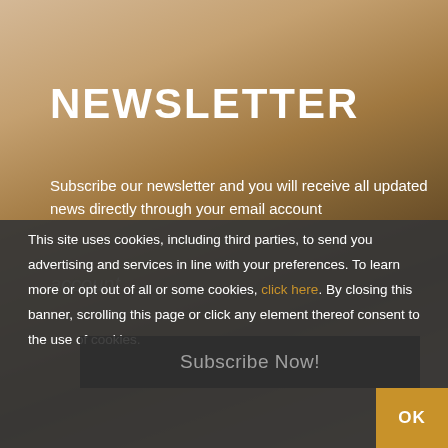[Figure (photo): Sepia-toned blurred background photo of an outdoor scene with poles or street infrastructure]
NEWSLETTER
Subscribe our newsletter and you will receive all updated news directly through your email account
This site uses cookies, including third parties, to send you advertising and services in line with your preferences. To learn more or opt out of all or some cookies, click here. By closing this banner, scrolling this page or click any element thereof consent to the use of cookies.
Subscribe Now!
OK